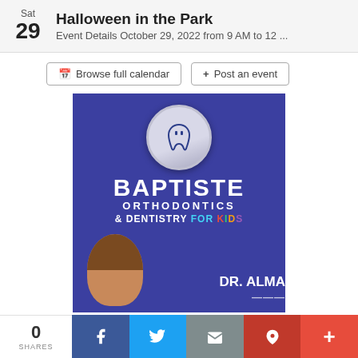Sat 29 — Halloween in the Park — Event Details October 29, 2022 from 9 AM to 12 ...
Browse full calendar   + Post an event
[Figure (illustration): Baptiste Orthodontics & Dentistry For Kids advertisement. Blue background with tooth logo in a circular badge at top. Large white text reading BAPTISTE ORTHODONTICS & DENTISTRY FOR KIDS in colorful letters. Photo of Dr. Alma (woman smiling) at the bottom left. DR. ALMA text at bottom right.]
0 SHARES
f  (Twitter bird)  (email icon)  p  +